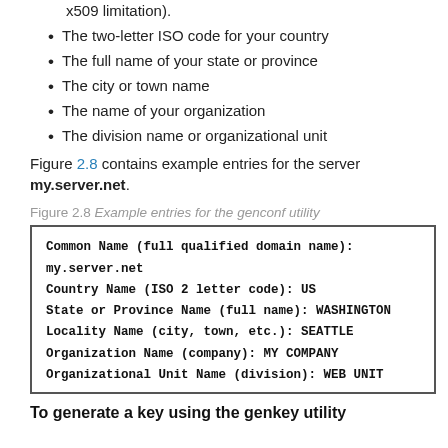x509 limitation).
The two-letter ISO code for your country
The full name of your state or province
The city or town name
The name of your organization
The division name or organizational unit
Figure 2.8 contains example entries for the server my.server.net.
Figure 2.8 Example entries for the genconf utility
[Figure (screenshot): Code box showing example genconf utility entries: Common Name (full qualified domain name): my.server.net, Country Name (ISO 2 letter code): US, State or Province Name (full name): WASHINGTON, Locality Name (city, town, etc.): SEATTLE, Organization Name (company): MY COMPANY, Organizational Unit Name (division): WEB UNIT]
To generate a key using the genkey utility